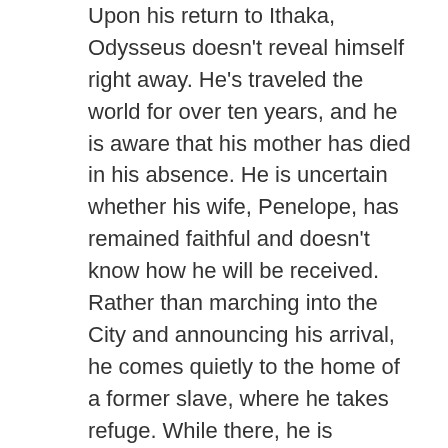Upon his return to Ithaka, Odysseus doesn't reveal himself right away. He's traveled the world for over ten years, and he is aware that his mother has died in his absence. He is uncertain whether his wife, Penelope, has remained faithful and doesn't know how he will be received. Rather than marching into the City and announcing his arrival, he comes quietly to the home of a former slave, where he takes refuge. While there, he is greeted by his own dog, Argos, who is the only one to recognize him on sight.
The slave, while washing Odysseus' feet, recognizes a scar from a boar hunt in his youth. He threatens her with death if she reveals his secret and remains hidden. He proceeds into the City to join the suitors of his own wife, Penelope. Penelope has decreed a series of contests that stand between her, the